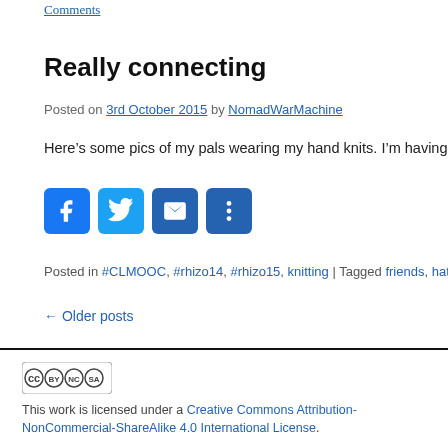Comments
Really connecting
Posted on 3rd October 2015 by NomadWarMachine
Here's some pics of my pals wearing my hand knits. I'm having
[Figure (other): Social share buttons: Facebook, Twitter, Email, More]
Posted in #CLMOOC, #rhizo14, #rhizo15, knitting | Tagged friends, hats, knit...
← Older posts
[Figure (logo): Creative Commons BY-NC-SA license badge]
This work is licensed under a Creative Commons Attribution-NonCommercial-ShareAlike 4.0 International License.